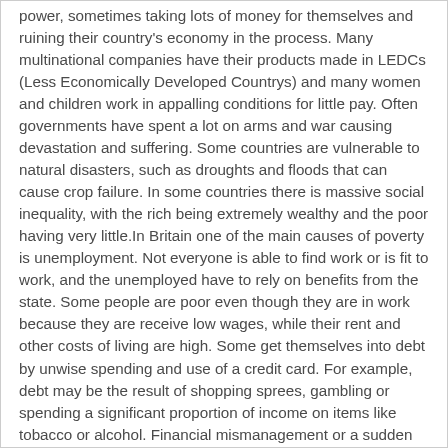power, sometimes taking lots of money for themselves and ruining their country's economy in the process. Many multinational companies have their products made in LEDCs (Less Economically Developed Countrys) and many women and children work in appalling conditions for little pay. Often governments have spent a lot on arms and war causing devastation and suffering. Some countries are vulnerable to natural disasters, such as droughts and floods that can cause crop failure. In some countries there is massive social inequality, with the rich being extremely wealthy and the poor having very little.In Britain one of the main causes of poverty is unemployment. Not everyone is able to find work or is fit to work, and the unemployed have to rely on benefits from the state. Some people are poor even though they are in work because they are receive low wages, while their rent and other costs of living are high. Some get themselves into debt by unwise spending and use of a credit card. For example, debt may be the result of shopping sprees, gambling or spending a significant proportion of income on items like tobacco or alcohol. Financial mismanagement or a sudden change of circumstances, such as losing a job, may compound the problem, particularly if high rates of interest have to be paid on loans. Failure to make provision for